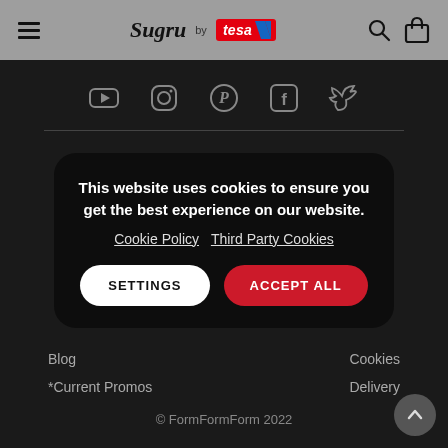Sugru by tesa — navigation header with hamburger menu, logo, search and bag icons
[Figure (infographic): Social media icons row: YouTube, Instagram, Pinterest, Facebook, Twitter on dark background]
This website uses cookies to ensure you get the best experience on our website. Cookie Policy Third Party Cookies
SETTINGS  ACCEPT ALL
Blog
*Current Promos
Cookies
Delivery
© FormFormForm 2022